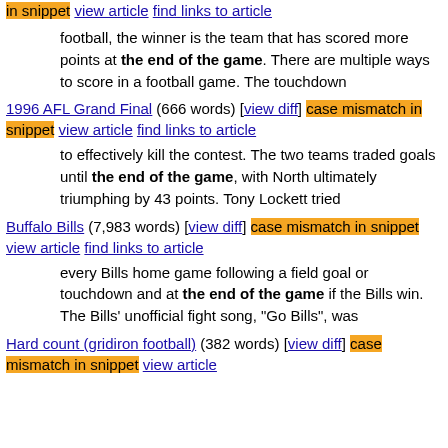in snippet view article find links to article
football, the winner is the team that has scored more points at the end of the game. There are multiple ways to score in a football game. The touchdown
1996 AFL Grand Final (666 words) [view diff] case mismatch in snippet view article find links to article
to effectively kill the contest. The two teams traded goals until the end of the game, with North ultimately triumphing by 43 points. Tony Lockett tried
Buffalo Bills (7,983 words) [view diff] case mismatch in snippet view article find links to article
every Bills home game following a field goal or touchdown and at the end of the game if the Bills win. The Bills' unofficial fight song, "Go Bills", was
Hard count (gridiron football) (382 words) [view diff] case mismatch in snippet view article